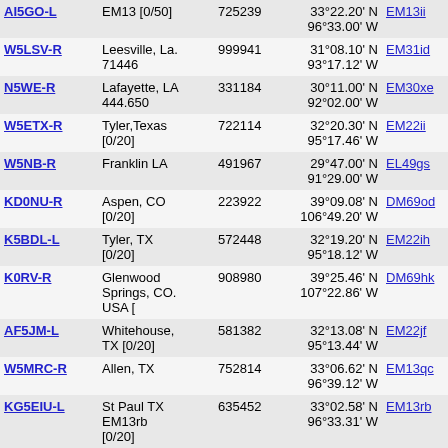| Callsign | Location | ID | Coordinates | Grid | Freq | Tone |
| --- | --- | --- | --- | --- | --- | --- |
| AI5GO-L | EM13 [0/50] | 725239 | 33°22.20' N 96°33.00' W | EM13ii | 4969.7 |  |
| W5LSV-R | Leesville, La. 71446 | 999941 | 31°08.10' N 93°17.12' W | EM31id | 4975.5 | 145.310 |
| N5WE-R | Lafayette, LA 444.650 | 331184 | 30°11.00' N 92°02.00' W | EM30xe | 4981.5 | 444.650 |
| W5ETX-R | Tyler,Texas [0/20] | 722114 | 32°20.30' N 95°17.46' W | EM22ii | 4981.9 | 145.210 |
| W5NB-R | Franklin LA | 491967 | 29°47.00' N 91°29.00' W | EL49gs | 4982.9 | 146.820 |
| KD0NU-R | Aspen, CO [0/20] | 223922 | 39°09.08' N 106°49.20' W | DM69od | 4983.1 |  |
| K5BDL-L | Tyler, TX [0/20] | 572448 | 32°19.20' N 95°18.12' W | EM22ih | 4983.2 |  |
| K0RV-R | Glenwood Springs, CO. USA [ | 908980 | 39°25.46' N 107°22.86' W | DM69hk | 4984.5 |  |
| AF5JM-L | Whitehouse, TX [0/20] | 581382 | 32°13.08' N 95°13.44' W | EM22jf | 4986.1 |  |
| W5MRC-R | Allen, TX | 752814 | 33°06.62' N 96°39.12' W | EM13qc | 4987.5 | 443.200 |
| KG5EIU-L | St Paul TX EM13rb [0/20] | 635452 | 33°02.58' N 96°33.31' W | EM13rb | 4987.8 | 439.900 |
| V31HH-R | Orange Walk, Belize [0/30] | 897046 | 38°33.31' N 105°53.22' W | DM78bn | 4988.4 | 433.750 |
| K5PRK-R | Allen, TX | 551702 | 33°05.60' N | EM13pc | 4989.2 |  |